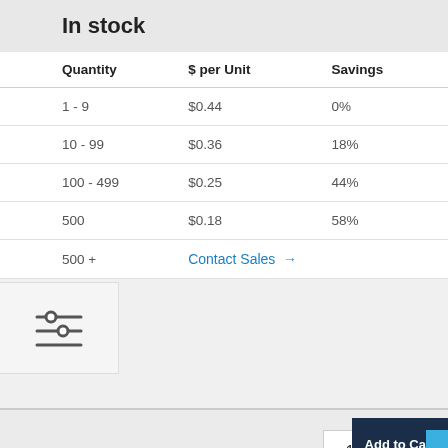In stock
| Quantity | $ per Unit | Savings |
| --- | --- | --- |
| 1 - 9 | $0.44 | 0% |
| 10 - 99 | $0.36 | 18% |
| 100 - 499 | $0.25 | 44% |
| ≥500 | $0.18 | 58% |
| 500 + | Contact Sales → |  |
[Figure (other): Filter/sliders icon overlay on left side]
– 1 +
Add to Cart
or
Add Free Sample
Feedback